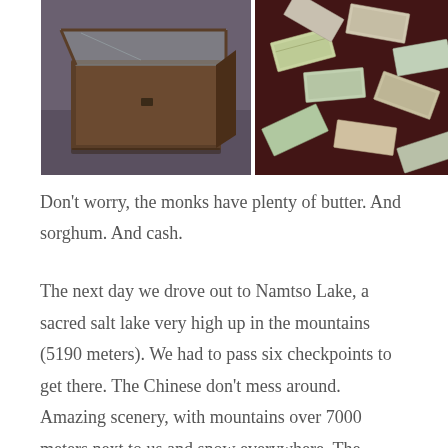[Figure (photo): Two side-by-side photos: left photo shows wooden storage boxes or drawers with a glass top in a dim room; right photo shows scattered paper currency/banknotes spread across a dark red wooden surface.]
Don't worry, the monks have plenty of butter. And sorghum. And cash.
The next day we drove out to Namtso Lake, a sacred salt lake very high up in the mountains (5190 meters). We had to pass six checkpoints to get there. The Chinese don't mess around. Amazing scenery, with mountains over 7000 meters next to us and snow everywhere. The Himalayas in the background, with